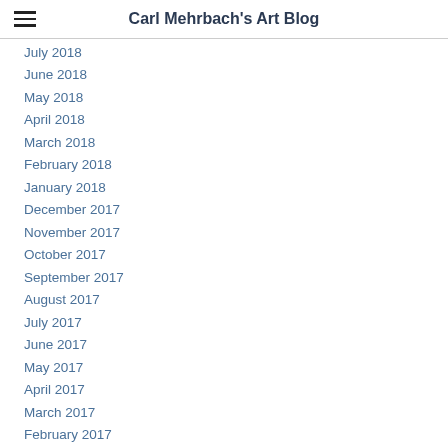Carl Mehrbach's Art Blog
July 2018
June 2018
May 2018
April 2018
March 2018
February 2018
January 2018
December 2017
November 2017
October 2017
September 2017
August 2017
July 2017
June 2017
May 2017
April 2017
March 2017
February 2017